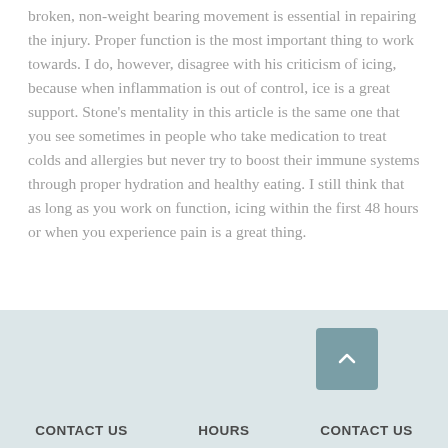broken, non-weight bearing movement is essential in repairing the injury. Proper function is the most important thing to work towards. I do, however, disagree with his criticism of icing, because when inflammation is out of control, ice is a great support. Stone's mentality in this article is the same one that you see sometimes in people who take medication to treat colds and allergies but never try to boost their immune systems through proper hydration and healthy eating. I still think that as long as you work on function, icing within the first 48 hours or when you experience pain is a great thing.
CONTACT US   HOURS   CONTACT US